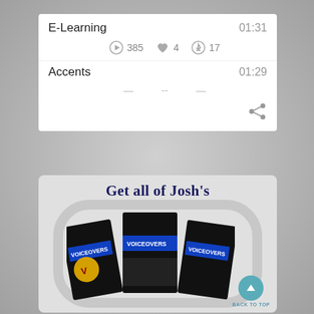E-Learning
01:31
385 plays  4 likes  17 downloads
Accents
01:29
[Figure (screenshot): Mobile app UI card showing E-Learning and Accents audio tracks with play/like/download counts and a share icon]
[Figure (illustration): Promotional banner saying Get all of Josh's with voiceover book covers and a Back to Top button]